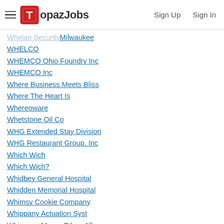TopazJobs | Sign Up | Sign In
Whelan Security Milwaukee
WHELCO
WHEMCO Ohio Foundry Inc
WHEMCO Inc
Where Business Meets Bliss
Where The Heart Is
Whereoware
Whetstone Oil Co
WHG Extended Stay Division
WHG Restaurant Group, Inc
Which Wich
Which Wich?
Whidbey General Hospital
Whidden Memorial Hospital
Whimsy Cookie Company
Whippany Actuation Syst
Whippany Manor Ethan Allen
Whirlpool
Whirlpool Corporation
Whirlpool Corporation Fall River Commercial Laundry
Whirlpool Business Solutions (partial)